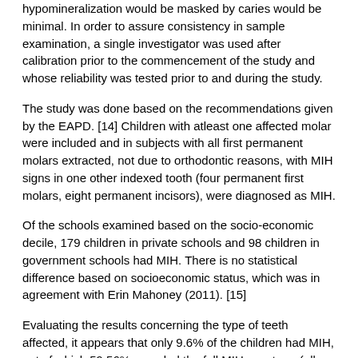hypomineralization would be masked by caries would be minimal. In order to assure consistency in sample examination, a single investigator was used after calibration prior to the commencement of the study and whose reliability was tested prior to and during the study.
The study was done based on the recommendations given by the EAPD. [14] Children with atleast one affected molar were included and in subjects with all first permanent molars extracted, not due to orthodontic reasons, with MIH signs in one other indexed tooth (four permanent first molars, eight permanent incisors), were diagnosed as MIH.
Of the schools examined based on the socio-economic decile, 179 children in private schools and 98 children in government schools had MIH. There is no statistical difference based on socioeconomic status, which was in agreement with Erin Mahoney (2011). [15]
Evaluating the results concerning the type of teeth affected, it appears that only 9.6% of the children had MIH, out of which 59.56% revealed the full MIH spectrum (all four molars affected). This percentage is much higher than in all previous reports, where children having full MIH spectrum varied from 22.6% to 35%. [16],[17],[18],[19]
In the present study, there is no statistical difference in the prevalence between the maxillary teeth compared to the mandibular teeth, which was in agreement with the study done by Jalevik et al. [20] The findings of this study differ from the previous reports. [18],[22] Further studies on